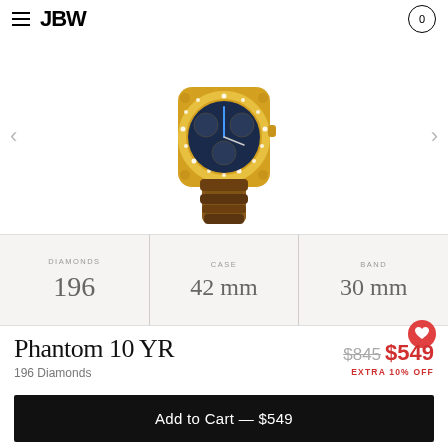JBW
[Figure (photo): JBW Phantom 10 YR luxury diamond watch with gold case, blue sub-dials, and brown leather band]
| DIAMONDS | CASE | BAND |
| --- | --- | --- |
| 196 | 42 mm | 30 mm |
Phantom 10 YR
196 Diamonds
$845  $549  EXTRA 10% OFF
Add to Cart — $549